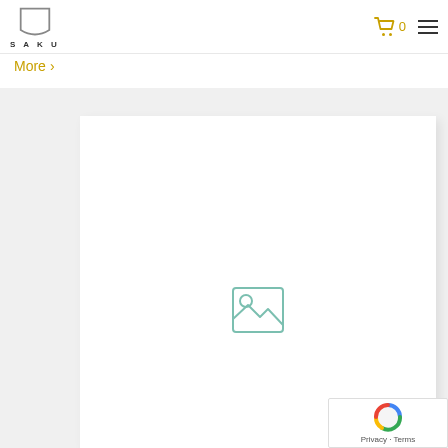SAKU
More >
[Figure (photo): White product card with placeholder image icon on a light gray background]
[Figure (other): reCAPTCHA badge with Privacy - Terms text]